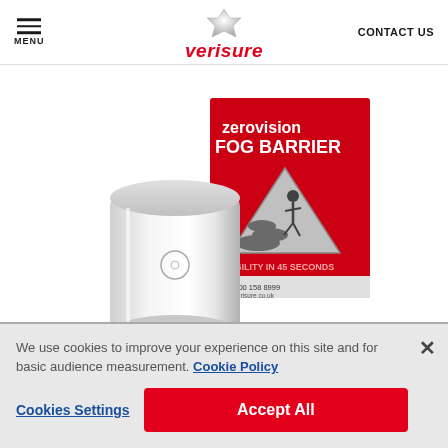MENU | verisure | CONTACT US
[Figure (photo): Verisure ZeroVision Fog Barrier device - a white cylindrical security fog machine unit positioned in front of a red product packaging box that reads 'zerovision FOG BARRIER' with a warning triangle showing a figure in fog, 'VISIBILITY IN 45 SECONDS', phone number 0800 158 8999 and website www.verisure.co.uk]
We use cookies to improve your experience on this site and for basic audience measurement. Cookie Policy
Cookies Settings
Accept All